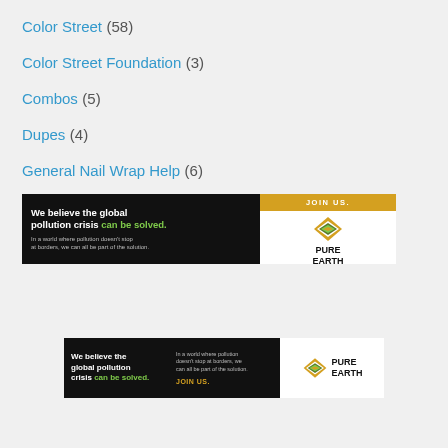Color Street (58)
Color Street Foundation (3)
Combos (5)
Dupes (4)
General Nail Wrap Help (6)
[Figure (illustration): Pure Earth advertisement banner (small): black background with white bold text 'We believe the global pollution crisis' with green text 'can be solved.', small subtext about pollution, and Pure Earth logo with diamond icon on white right panel, JOIN US bar in gold.]
[Figure (illustration): Pure Earth advertisement banner (large): black background with white bold text 'We believe the global pollution crisis' with green text 'can be solved.', right side has subtext and JOIN US in gold, Pure Earth logo with diamond icon on white far right.]